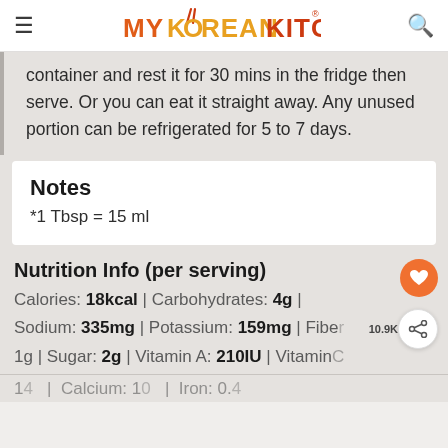MY KOREAN KITCHEN
container and rest it for 30 mins in the fridge then serve. Or you can eat it straight away. Any unused portion can be refrigerated for 5 to 7 days.
Notes
*1 Tbsp = 15 ml
Nutrition Info (per serving)
Calories: 18kcal | Carbohydrates: 4g | Sodium: 335mg | Potassium: 159mg | Fiber: 1g | Sugar: 2g | Vitamin A: 210IU | Vitamin C: 14 | Calcium: 10 | Iron: 0.4